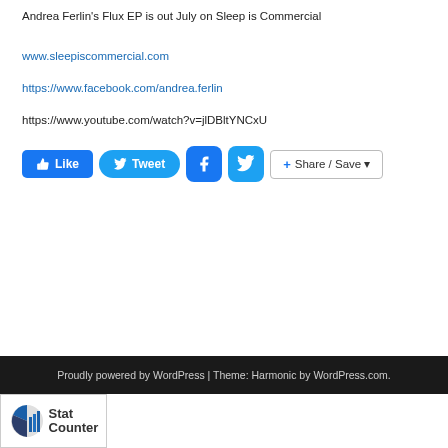Andrea Ferlin's Flux EP is out July on Sleep is Commercial
www.sleepiscommercial.com
https://www.facebook.com/andrea.ferlin
https://www.youtube.com/watch?v=jlDBltYNCxU
[Figure (other): Social sharing buttons: Like (Facebook blue), Tweet (Twitter blue rounded), Facebook icon (blue square), Twitter bird icon (blue square), Share/Save button (white with border)]
Proudly powered by WordPress | Theme: Harmonic by WordPress.com.
[Figure (logo): StatCounter logo — pie chart icon with 'Stat Counter' text]